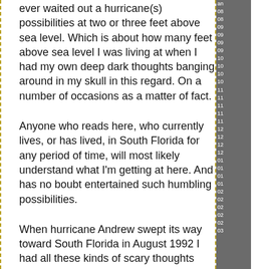ever waited out a hurricane(s) possibilities at two or three feet above sea level. Which is about how many feet above sea level I was living at when I had my own deep dark thoughts banging around in my skull in this regard. On a number of occasions as a matter of fact.
Anyone who reads here, who currently lives, or has lived, in South Florida for any period of time, will most likely understand what I'm getting at here. And has no boubt entertained such humbling possibilities.
When hurricane Andrew swept its way toward South Florida in August 1992 I had all these kinds of scary thoughts banging around in my skull because, as the weather people will tell you, its the water stupid! Its the water - the storm surge - that kills thousands of people.
What you think about - the images that go through your head - as you sit in your hurricane shuttered sweatbox - is basically what you see in those videos coming from Indonesia today.
Although Andrew roared ashore north of where I